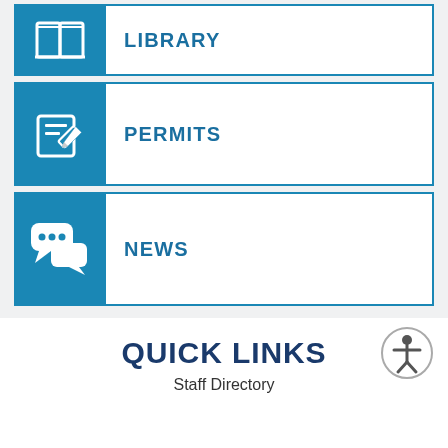[Figure (illustration): Blue card with open book icon and LIBRARY label]
[Figure (illustration): Blue card with pencil/document edit icon and PERMITS label]
[Figure (illustration): Blue card with speech bubble chat icons and NEWS label]
QUICK LINKS
Staff Directory